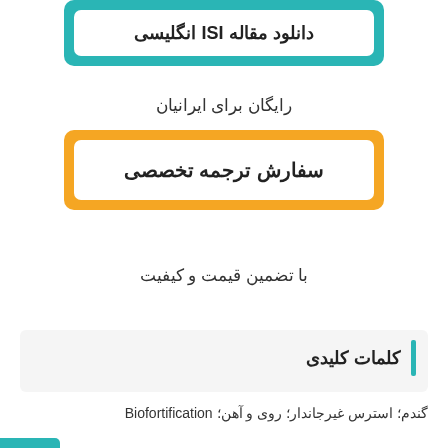[Figure (other): Teal bordered button with white inner box containing Persian and English text: دانلود مقاله ISI انگلیسی]
رایگان برای ایرانیان
[Figure (other): Orange bordered button with white inner box containing Persian text: سفارش ترجمه تخصصی]
با تضمین قیمت و کیفیت
کلمات کلیدی
گندم؛ استرس غیرجاندار؛ روی و آهن؛ Biofortification